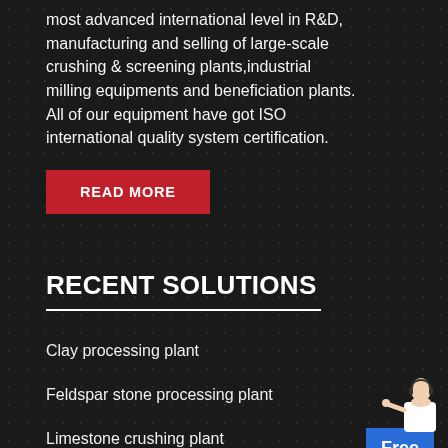most advanced international level in R&D, manufacturing and selling of large-scale crushing & screening plants,industrial milling equipments and beneficiation plants. All of our equipment have got ISO international quality system certification.
[Figure (other): Red 'READ MORE' button and a customer service representative figure with a blue 'Free chat' box widget in the top-right corner]
RECENT SOLUTIONS
Clay processing plant
Feldspar stone processing plant
Limestone crushing plant
Silver mining plant